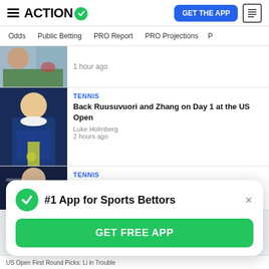ACTION — GET THE APP
Odds | Public Betting | PRO Report | PRO Projections
1 hour ago
TENNIS
Back Ruusuvuori and Zhang on Day 1 at the US Open
Luke Holmberg
2 hours ago
TENNIS
US Open Predictions: Approach Kyrgios
#1 App for Sports Bettors
GET FREE APP
US Open First Round Picks: Li in Trouble